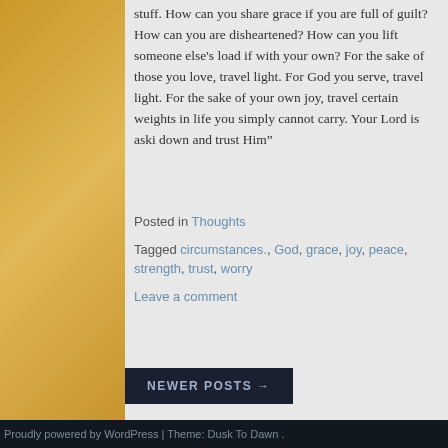stuff. How can you share grace if you are full of guilt? How can you are disheartened? How can you lift someone else's load if with your own? For the sake of those you love, travel light. For God you serve, travel light. For the sake of your own joy, travel certain weights in life you simply cannot carry. Your Lord is aski down and trust Him”
Posted in Thoughts
Tagged circumstances., God, grace, joy, peace, strength, trust, worry
Leave a comment
NEWER POSTS →
Proudly powered by WordPress | Theme: Dusk To Dawn .